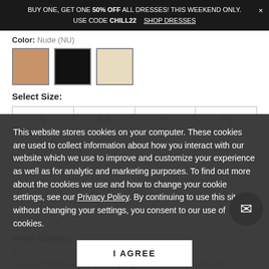BUY ONE, GET ONE 50% OFF ALL DRESSES! THIS WEEKEND ONLY. × USE CODE CHILL22   SHOP DRESSES
Color: Nude (NU)
[Figure (photo): Three color swatches: nude/tan, black, cream/ivory]
Select Size:
| 6 | 6.5 | 7 | 7.5 |
| 8 | 8.5 | 9 | 9.5 |
This website stores cookies on your computer. These cookies are used to collect information about how you interact with our website which we use to improve and customize your experience as well as for analytic and marketing purposes. To find out more about the cookies we use and how to change your cookie settings, see our Privacy Policy. By continuing to use this site without changing your settings, you consent to our use of cookies.
Select Quantity:
1
I AGREE
It doesn't matter where you're going, these heels will walk with